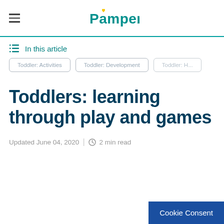Pampers
In this article
Toddler: Activities | Toddler: Development | Toddler: H...
Toddlers: learning through play and games
Updated June 04, 2020  |  2 min read
Cookie Consent